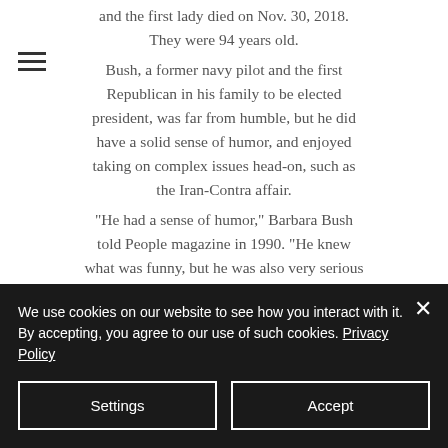and the first lady died on Nov. 30, 2018. They were 94 years old. Bush, a former navy pilot and the first Republican in his family to be elected president, was far from humble, but he did have a solid sense of humor, and enjoyed taking on complex issues head-on, such as the Iran-Contra affair. “He had a sense of humor,” Barbara Bush told People magazine in 1990. “He knew what was funny, but he was also very serious about the issues. He worked very hard on behalf of causes he believed in.” “Like most people, he was tickled by a funny
We use cookies on our website to see how you interact with it. By accepting, you agree to our use of such cookies. Privacy Policy
Settings
Accept